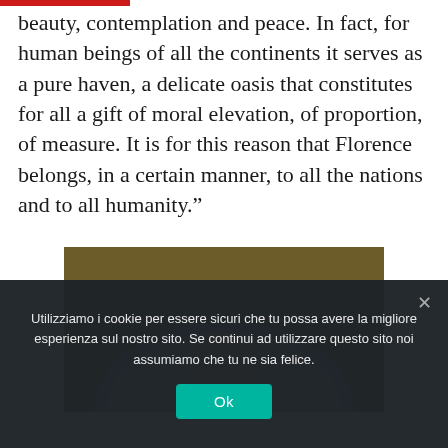beauty, contemplation and peace. In fact, for human beings of all the continents it serves as a pure haven, a delicate oasis that constitutes for all a gift of moral elevation, of proportion, of measure. It is for this reason that Florence belongs, in a certain manner, to all the nations and to all humanity.”
[Figure (photo): Photograph of a classical sculptural bust or tondo, showing a golden/terracotta baby or cherub head emerging from a circular grey stone relief, against a dark ochre/brown background.]
Utilizziamo i cookie per essere sicuri che tu possa avere la migliore esperienza sul nostro sito. Se continui ad utilizzare questo sito noi assumiamo che tu ne sia felice.